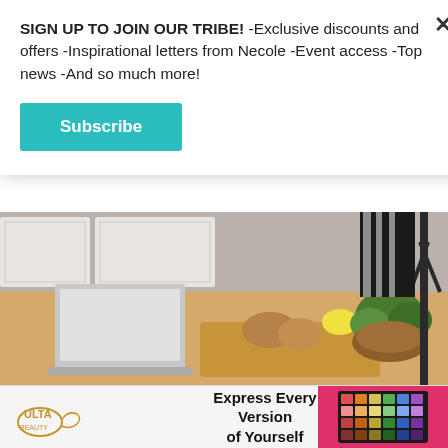SIGN UP TO JOIN OUR TRIBE! -Exclusive discounts and offers -Inspirational letters from Necole -Event access -Top news -And so much more!
Subscribe
[Figure (photo): Kitchen scene with laptop, bread, lemon, and vegetables on a cutting board, with camera equipment visible]
Shutterstock
All of the recipes that I just referenced? They weren't written recipes; they were videos. When you are watching an expert breakdown how to prepare a...
[Figure (infographic): Ulta Beauty advertisement: Express Every Version of Yourself, with makeup palette image]